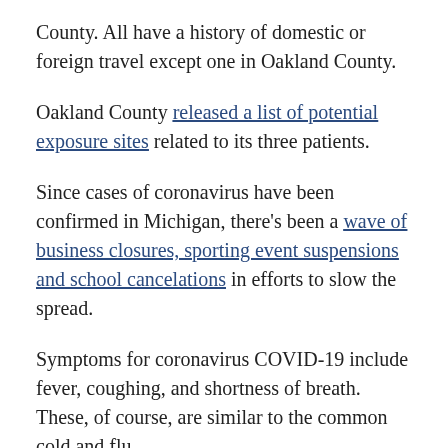County. All have a history of domestic or foreign travel except one in Oakland County.
Oakland County released a list of potential exposure sites related to its three patients.
Since cases of coronavirus have been confirmed in Michigan, there's been a wave of business closures, sporting event suspensions and school cancelations in efforts to slow the spread.
Symptoms for coronavirus COVID-19 include fever, coughing, and shortness of breath. These, of course, are similar to the common cold and flu.
Expect a common cold to start out with a sore or scratchy throat, cough, runny and/or stuffy nose. Flu symptoms are more intense and usually come on